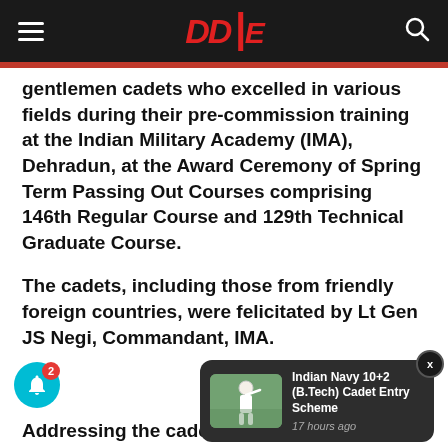DDe [navigation bar with logo]
gentlemen cadets who excelled in various fields during their pre-commission training at the Indian Military Academy (IMA), Dehradun, at the Award Ceremony of Spring Term Passing Out Courses comprising 146th Regular Course and 129th Technical Graduate Course.
The cadets, including those from friendly foreign countries, were felicitated by Lt Gen JS Negi, Commandant, IMA.
[Figure (screenshot): Notification popup showing 'Indian Navy 10+2 (B.Tech) Cadet Entry Scheme' with an image of a Navy cadet saluting, timestamped '17 hours ago', with a close button X and a teal bell notification icon with badge count 2]
Addressing the cadets, he said that the country